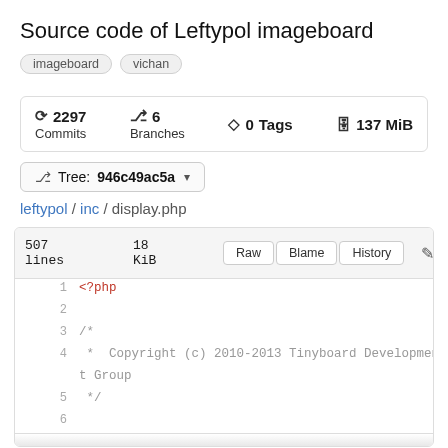Source code of Leftypol imageboard
imageboard  vichan
2297 Commits  6 Branches  0 Tags  137 MiB
Tree: 946c49ac5a
leftypol / inc / display.php
507 lines  18 KiB  Raw  Blame  History
1  <?php
2
3  /*
4   * Copyright (c) 2010-2013 Tinyboard Development Group
5   */
6